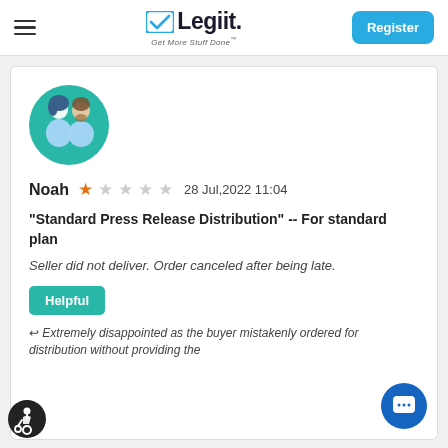Legiit — Get More Stuff Done — Register
[Figure (illustration): User avatar showing a man and woman silhouette on a teal/green circular background]
Noah ★☆☆☆☆ 28 Jul,2022 11:04
"Standard Press Release Distribution" -- For standard plan
Seller did not deliver. Order canceled after being late.
Helpful
↩ Extremely disappointed as the buyer mistakenly ordered for distribution without providing the